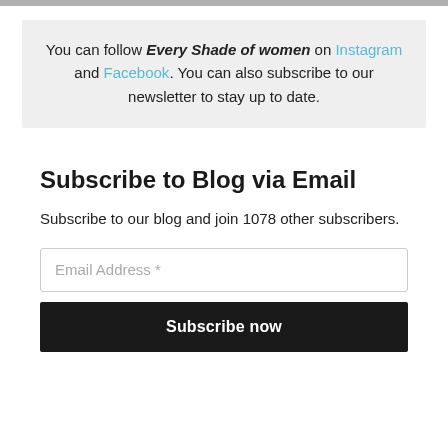You can follow Every Shade of women on Instagram and Facebook. You can also subscribe to our newsletter to stay up to date.
Subscribe to Blog via Email
Subscribe to our blog and join 1078 other subscribers.